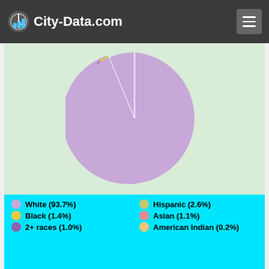City-Data.com
[Figure (pie-chart): Race/Ethnicity]
White — 93.7% — 15,217
Hispanic or Latino — 2.6% — 422
Black — 1.4% — 221